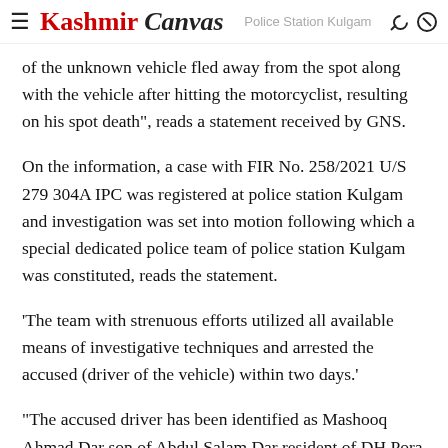Kashmir Canvas | Police Station Kulgam
of the unknown vehicle fled away from the spot along with the vehicle after hitting the motorcyclist, resulting on his spot death", reads a statement received by GNS.
On the information, a case with FIR No. 258/2021 U/S 279 304A IPC was registered at police station Kulgam and investigation was set into motion following which a special dedicated police team of police station Kulgam was constituted, reads the statement.
'The team with strenuous efforts utilized all available means of investigative techniques and arrested the accused (driver of the vehicle) within two days.'
"The accused driver has been identified as Mashooq Ahmad Dar son of Abdul Salam Dar resident of DH Pora and the